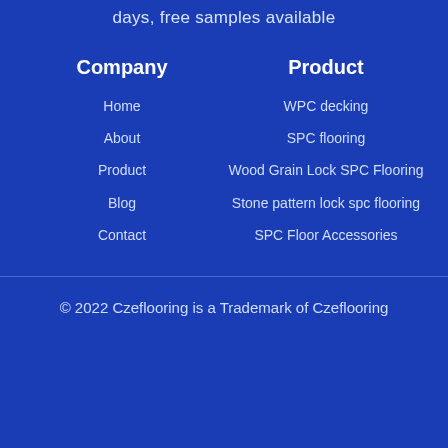days, free samples available
Company
Product
Home
About
Product
Blog
Contact
WPC decking
SPC flooring
Wood Grain Lock SPC Flooring
Stone pattern lock spc flooring
SPC Floor Accessories
© 2022 Czeflooring is a Trademark of Czeflooring